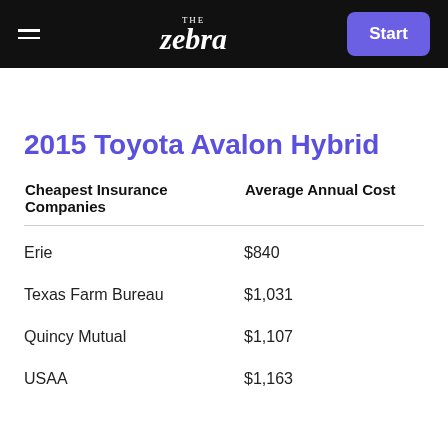The Zebra — navigation bar with Start button
2015 Toyota Avalon Hybrid
| Cheapest Insurance Companies | Average Annual Cost |
| --- | --- |
| Erie | $840 |
| Texas Farm Bureau | $1,031 |
| Quincy Mutual | $1,107 |
| USAA | $1,163 |